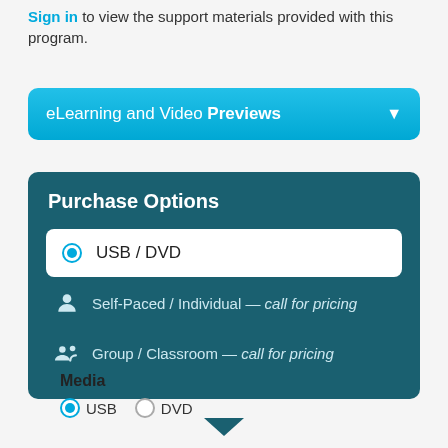Sign in to view the support materials provided with this program.
[Figure (screenshot): eLearning and Video Previews dropdown bar in blue]
[Figure (screenshot): Purchase Options panel with USB/DVD selected, Self-Paced/Individual and Group/Classroom options]
Media
USB   DVD (radio buttons)